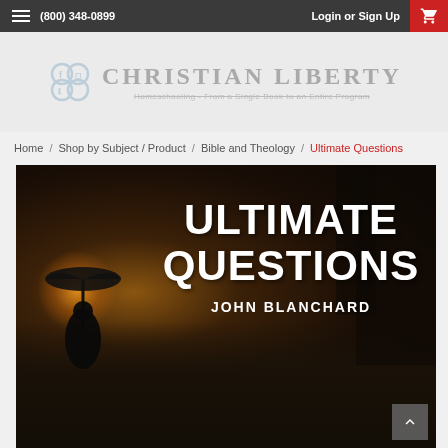(800) 348-0899   Login or Sign Up
[Figure (logo): Christian Liberty homeschool logo with connected hexagonal icon and text 'Christian Liberty' with subtitle 'Homeschooling - From a Single Book to an Entire Program']
Home / Shop by Subject / Product / Bible and Theology / Ultimate Questions
[Figure (photo): Book cover for 'Ultimate Questions' by John Blanchard. Dark atmospheric nighttime street scene with silhouetted figure holding umbrella, with large bold white text reading 'ULTIMATE QUESTIONS' and 'JOHN BLANCHARD']